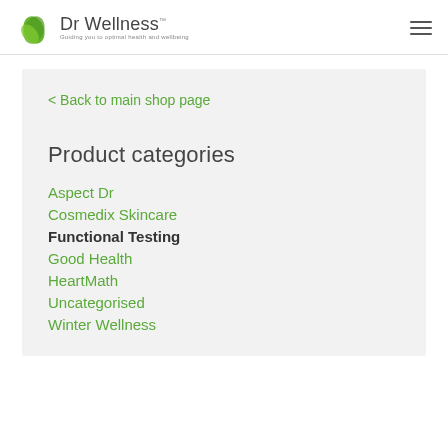Dr Wellness — Guiding you to optimal health and wellbeing
< Back to main shop page
Product categories
Aspect Dr
Cosmedix Skincare
Functional Testing
Good Health
HeartMath
Uncategorised
Winter Wellness